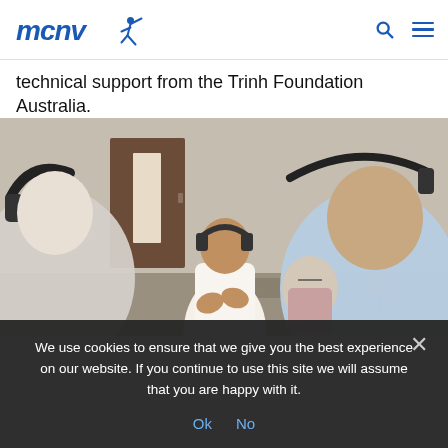MCNV logo with search and menu icons
technical support from the Trinh Foundation Australia.
[Figure (photo): A person wearing headphones stands and claps in a meeting room. Several other attendees with headphones are visible, including one person from behind in the foreground, one seated woman, and another person from behind at right. A small bouquet of sunflowers is on the table.]
We use cookies to ensure that we give you the best experience on our website. If you continue to use this site we will assume that you are happy with it.